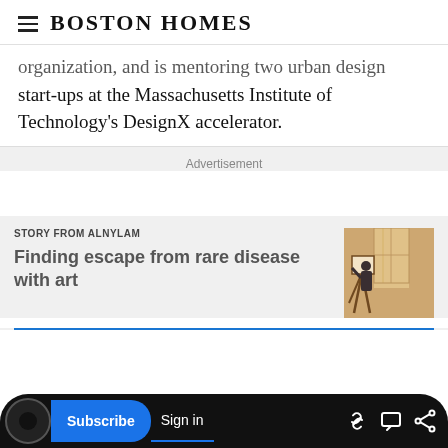Boston Homes
organization, and is mentoring two urban design start-ups at the Massachusetts Institute of Technology's DesignX accelerator.
Advertisement
STORY FROM ALNYLAM
Finding escape from rare disease with art
[Figure (photo): Person painting at an easel near large windows with bright light coming through]
Subscribe  Sign in